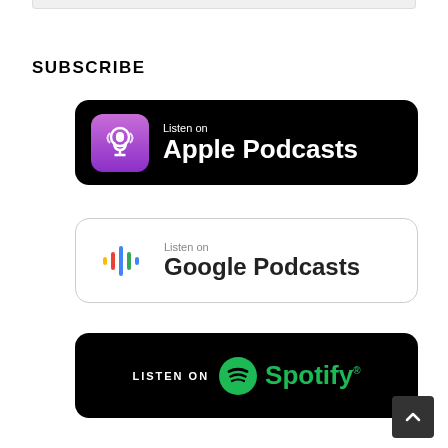SUBSCRIBE
[Figure (logo): Listen on Apple Podcasts badge — black rounded rectangle with purple podcast icon and white text 'Listen on Apple Podcasts']
[Figure (logo): Listen on Google Podcasts badge — white rounded rectangle with Google Podcasts colorful icon and gray/dark text 'Listen on Google Podcasts']
[Figure (logo): Listen on Spotify badge — black rounded rectangle with green Spotify logo and text 'LISTEN ON Spotify']